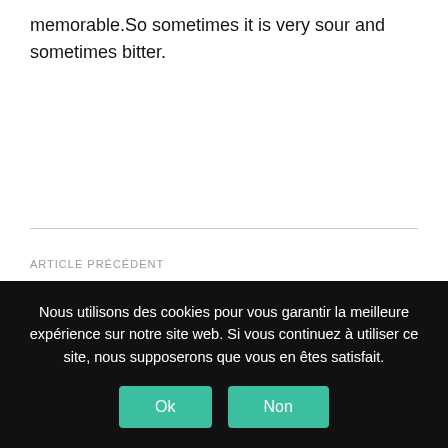memorable.So sometimes it is very sour and sometimes bitter.
ARTICLE PRÉCÉDENT
COTE COURT FESTIVAL 2021 : CANDIDATURES
Nous utilisons des cookies pour vous garantir la meilleure expérience sur notre site web. Si vous continuez à utiliser ce site, nous supposerons que vous en êtes satisfait.